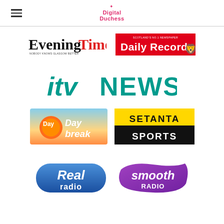Digital Duchess
[Figure (logo): Evening Times newspaper logo - black bold serif text]
[Figure (logo): Daily Record newspaper logo - white text on red background with lion crest]
[Figure (logo): ITV News logo in teal/green]
[Figure (logo): Daybreak TV show logo with orange sunrise]
[Figure (logo): Setanta Sports logo - yellow and black]
[Figure (logo): Real Radio logo - blue bubble shape with white text]
[Figure (logo): Smooth Radio logo - purple bubble shape with white text]